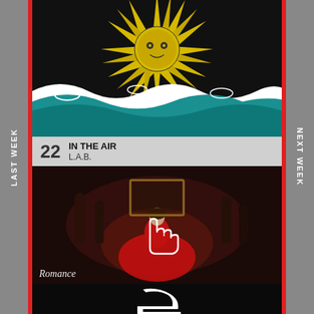LAST WEEK
NEXT WEEK
[Figure (illustration): Album art for 'In The Air' by L.A.B. — sun with rays, waves, psychedelic/retro art style in black, yellow and teal]
22 IN THE AIR / L.A.B.
[Figure (photo): Album art for 'My Oh My' by Camila Cabello feat. DaBaby — Romance album cover photo, woman in red dress on dark moody background with others in background. 'Romance' text overlay.]
23 MY OH MY / Camila Cabello feat. DaBaby
[Figure (logo): Partial view of a music chart logo '2' on dark background]